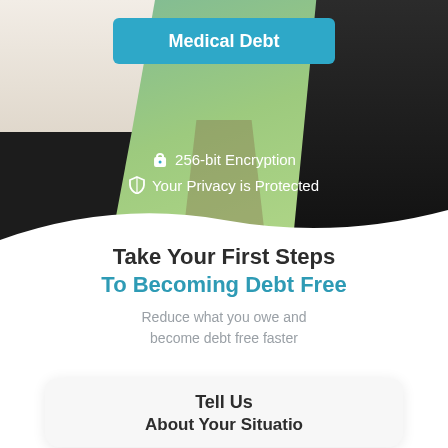[Figure (photo): Hero section with two people (one in white shirt, one in dark clothing) walking outdoors with green background, overlaid with a teal button labeled 'Medical Debt' and security badge text]
256-bit Encryption
Your Privacy is Protected
Take Your First Steps To Becoming Debt Free
Reduce what you owe and become debt free faster
Tell Us
About Your Situatio...